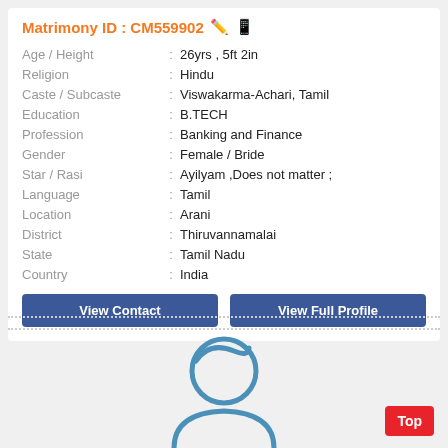Matrimony ID : CM559902
| Field | : | Value |
| --- | --- | --- |
| Age / Height | : | 26yrs , 5ft 2in |
| Religion | : | Hindu |
| Caste / Subcaste | : | Viswakarma-Achari, Tamil |
| Education | : | B.TECH |
| Profession | : | Banking and Finance |
| Gender | : | Female / Bride |
| Star / Rasi | : | Ayilyam ,Does not matter ; |
| Language | : | Tamil |
| Location | : | Arani |
| District | : | Thiruvannamalai |
| State | : | Tamil Nadu |
| Country | : | India |
View Contact
View Full Profile
[Figure (illustration): Generic person avatar icon in blue outline style, showing head and partial shoulders]